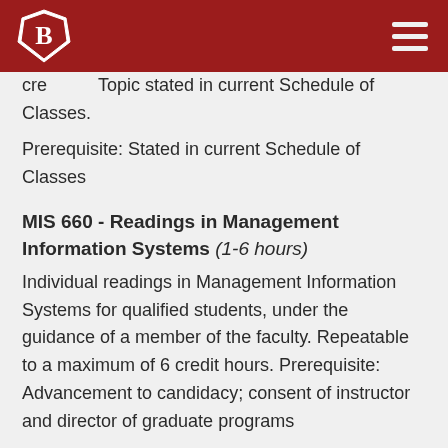B [logo] [hamburger menu]
credit. Topic stated in current Schedule of Classes.
Prerequisite: Stated in current Schedule of Classes
MIS 660 - Readings in Management Information Systems (1-6 hours)
Individual readings in Management Information Systems for qualified students, under the guidance of a member of the faculty. Repeatable to a maximum of 6 credit hours. Prerequisite: Advancement to candidacy; consent of instructor and director of graduate programs
MIS 671 - Productivity Software for Managers (3 hours)